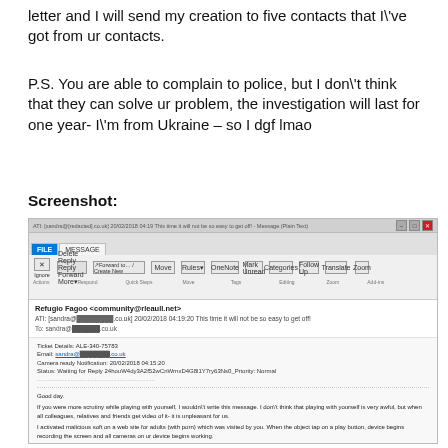letter and I will send my creation to five contacts that I\'ve got from ur contacts.
P.S. You are able to complain to police, but I don\'t think that they can solve ur problem, the investigation will last for one year- I\'m from Ukraine – so I dgf lmao
Screenshot:
[Figure (screenshot): Screenshot of an email client (Outlook) showing a phishing/extortion email. The email is from 'Refugio Fagoo <community@rleaull.net>' with subject 'ATT: [sandra@...co.uk] 20/02/2018 04:19:20 This time it will not be so easy to get off!' The email body contains a sextortion message with ticket details, camera notification, and bitcoin wallet address.]